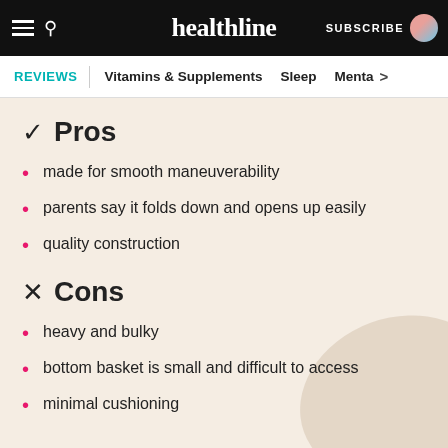healthline — SUBSCRIBE
REVIEWS | Vitamins & Supplements  Sleep  Menta >
✓ Pros
made for smooth maneuverability
parents say it folds down and opens up easily
quality construction
✕ Cons
heavy and bulky
bottom basket is small and difficult to access
minimal cushioning